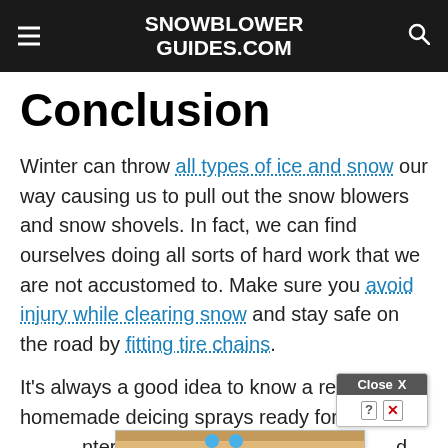SNOWBLOWER GUIDES.COM
Conclusion
Winter can throw all types of ice and snow our way causing us to pull out the snow blowers and snow shovels. In fact, we can find ourselves doing all sorts of hard work that we are not accustomed to. Make sure you avoid injury while clearing snow and stay safe on the road by fitting tire chains.
It's always a good idea to know a recipe for homemade deicing sprays ready for the winter weather... using harsh... d be
[Figure (screenshot): Advertisement banner overlay showing 'Hold and Move' game ad with blue stick figures, and a 'Close X' button with help and close icons]